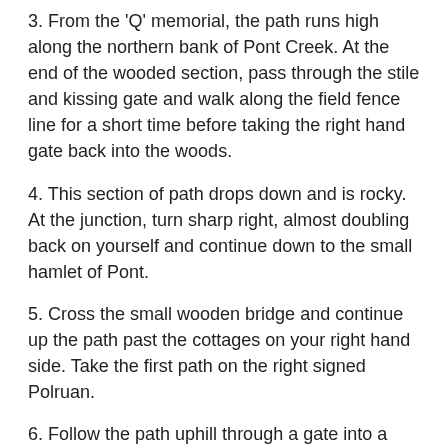3. From the 'Q' memorial, the path runs high along the northern bank of Pont Creek. At the end of the wooded section, pass through the stile and kissing gate and walk along the field fence line for a short time before taking the right hand gate back into the woods.
4. This section of path drops down and is rocky. At the junction, turn sharp right, almost doubling back on yourself and continue down to the small hamlet of Pont.
5. Cross the small wooden bridge and continue up the path past the cottages on your right hand side. Take the first path on the right signed Polruan.
6. Follow the path uphill through a gate into a series of fields. The path runs along the top of the fields and then through a gate into woodland. At this gate take the lower path which you stay on all the way to Polruan.
7. In Polruan, the Polruan Passenger ferry runs from the quay to